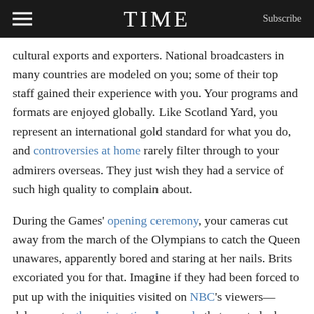TIME  Subscribe
cultural exports and exporters. National broadcasters in many countries are modeled on you; some of their top staff gained their experience with you. Your programs and formats are enjoyed globally. Like Scotland Yard, you represent an international gold standard for what you do, and controversies at home rarely filter through to your admirers overseas. They just wish they had a service of such high quality to complain about.
During the Games' opening ceremony, your cameras cut away from the march of the Olympians to catch the Queen unawares, apparently bored and staring at her nails. Brits excoriated you for that. Imagine if they had been forced to put up with the iniquities visited on NBC's viewers—delays, cuts, the unintentional comedy that erupted when its presenters failed to recognize World Wide Web inventor Tim Berners-Lee. And the commercial breaks. All those breaks.